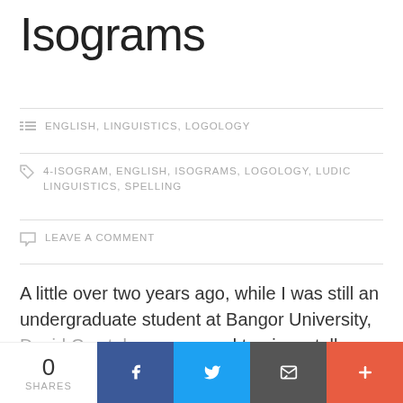Isograms
ENGLISH, LINGUISTICS, LOGOLOGY
4-ISOGRAM, ENGLISH, ISOGRAMS, LOGOLOGY, LUDIC LINGUISTICS, SPELLING
LEAVE A COMMENT
A little over two years ago, while I was still an undergraduate student at Bangor University, David Crystal came around to give a talk based on his book By Hook or by Crook: A Journey in Search of English. One of the many adventures in language land he
0 SHARES | Facebook | Twitter | Email | +